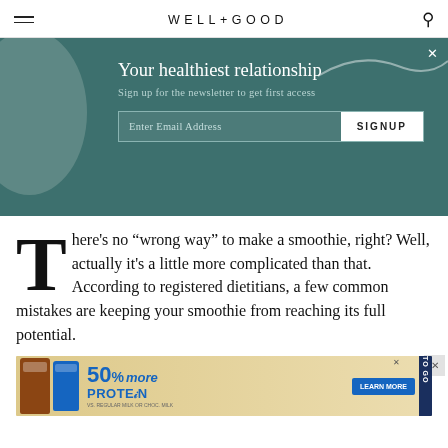WELL+GOOD
[Figure (screenshot): Newsletter signup banner with teal background reading 'Your healthiest relationship' and 'Sign up for the newsletter to get first access' with email input and SIGNUP button]
There’s no “wrong way” to make a smoothie, right? Well, actually it’s a little more complicated than that. According to registered dietitians, a few common mistakes are keeping your smoothie from reaching its full potential.
[Figure (screenshot): Advertisement banner: '50% more PROTEIN' with product bottles and LEARN MORE button]